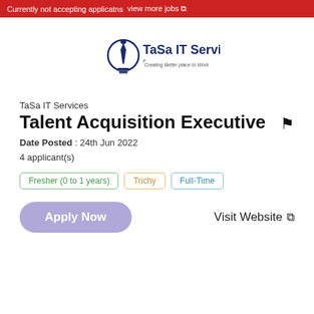Currently not accepting applicatns  view more jobs
[Figure (logo): TaSa IT Services logo — lightbulb with a tie, text 'TaSa IT Services' and tagline 'Creating Better place to Work']
TaSa IT Services
Talent Acquisition Executive
Date Posted : 24th Jun 2022
4 applicant(s)
Fresher (0 to 1 years)
Trichy
Full-Time
Apply Now
Visit Website